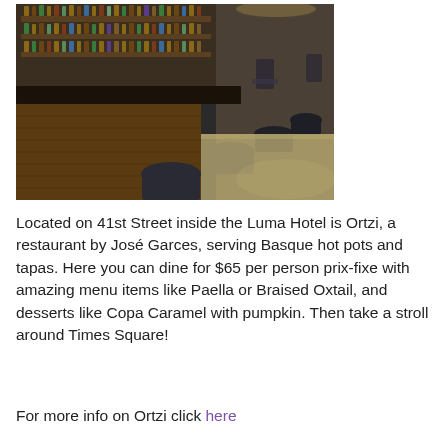[Figure (photo): Interior photo of a modern upscale bar with dark wood bar top, bar stools with dark cushions, and backlit shelves of liquor bottles in the background.]
Located on 41st Street inside the Luma Hotel is Ortzi, a restaurant by José Garces, serving Basque hot pots and tapas. Here you can dine for $65 per person prix-fixe with amazing menu items like Paella or Braised Oxtail, and desserts like Copa Caramel with pumpkin. Then take a stroll around Times Square!
For more info on Ortzi click here